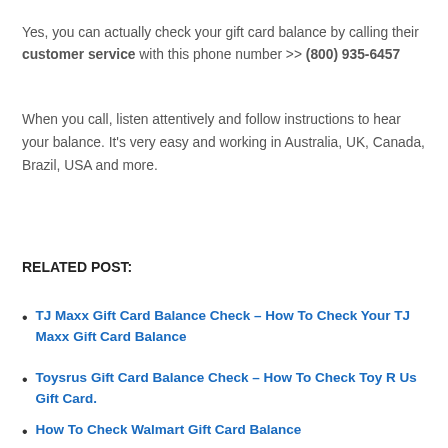Yes, you can actually check your gift card balance by calling their customer service with this phone number >> (800) 935-6457
When you call, listen attentively and follow instructions to hear your balance. It's very easy and working in Australia, UK, Canada, Brazil, USA and more.
RELATED POST:
TJ Maxx Gift Card Balance Check – How To Check Your TJ Maxx Gift Card Balance
Toysrus Gift Card Balance Check – How To Check Toy R Us Gift Card.
How To Check Walmart Gift Card Balance
Target Gift Card Balance Inquires – How To Check Target Gift Card Online